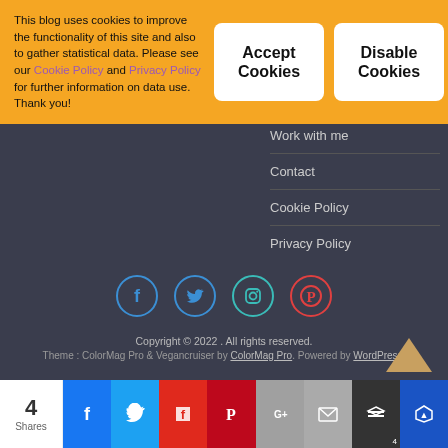This blog uses cookies to improve the functionality of this site and also to gather statistical data. Please see our Cookie Policy and Privacy Policy for further information on data use. Thank you!
Accept Cookies
Disable Cookies
Work with me
Contact
Cookie Policy
Privacy Policy
[Figure (infographic): Social media icons: Facebook (blue circle), Twitter (blue circle), Instagram (teal circle), Pinterest (red circle)]
Copyright © 2022 . All rights reserved.
Theme : ColorMag Pro & Vegancruiser by ColorMag Pro. Powered by WordPress.
4 Shares — share bar with Facebook, Twitter, Flipboard, Pinterest, Google+, Email, Layers, SumoMe buttons